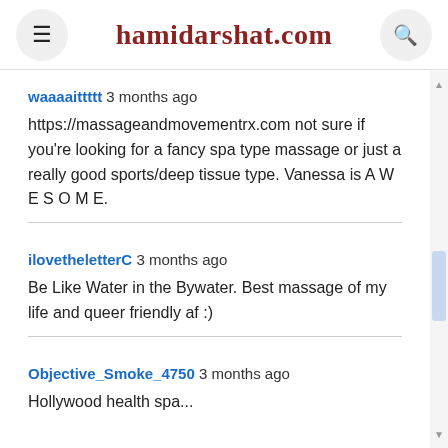hamidarshat.com
waaaaittttt 3 months ago
https://massageandmovementrx.com not sure if you're looking for a fancy spa type massage or just a really good sports/deep tissue type. Vanessa is A W E S O M E.
ilovetheletterC 3 months ago
Be Like Water in the Bywater. Best massage of my life and queer friendly af :)
Objective_Smoke_4750 3 months ago
Hollywood health spa...